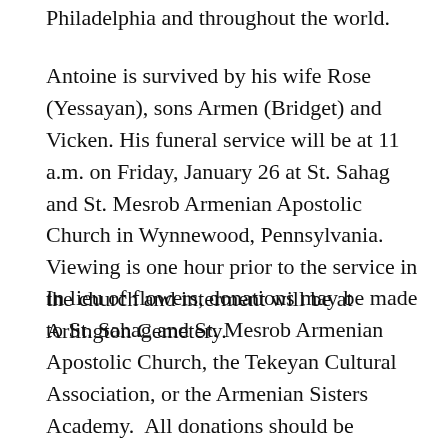Philadelphia and throughout the world.
Antoine is survived by his wife Rose (Yessayan), sons Armen (Bridget) and Vicken. His funeral service will be at 11 a.m. on Friday, January 26 at St. Sahag and St. Mesrob Armenian Apostolic Church in Wynnewood, Pennsylvania. Viewing is one hour prior to the service in the church and interment will be at Arlington Cemetery.
In lieu of flowers, donations may be made to St. Sahag and St. Mesrob Armenian Apostolic Church, the Tekeyan Cultural Association, or the Armenian Sisters Academy.  All donations should be mailed directly to the specific organizations.